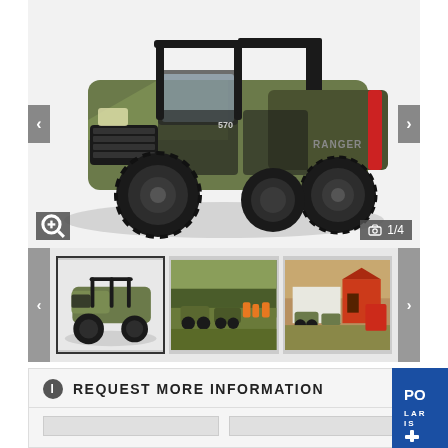[Figure (photo): Green Polaris Ranger full-size UTV/side-by-side with extended cab, multiple seats, roll cage, and cargo bed, photographed on white background from front-left angle]
[Figure (photo): Thumbnail 1: Same green Polaris Ranger UTV on white background, side view]
[Figure (photo): Thumbnail 2: Multiple Polaris Rangers in field with workers in orange vests, outdoor/forestry scene]
[Figure (photo): Thumbnail 3: Polaris Rangers parked near farm buildings with red barn and other equipment]
REQUEST MORE INFORMATION
[Figure (logo): Polaris logo badge in blue with PO and star/cross symbol]